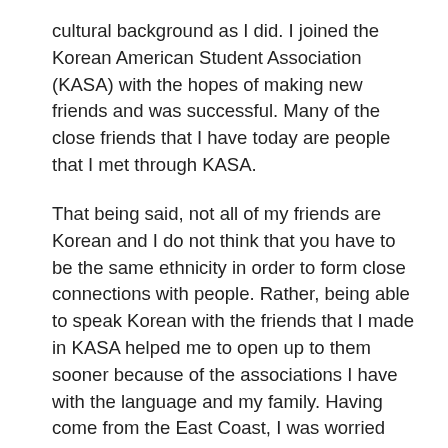cultural background as I did. I joined the Korean American Student Association (KASA) with the hopes of making new friends and was successful. Many of the close friends that I have today are people that I met through KASA.
That being said, not all of my friends are Korean and I do not think that you have to be the same ethnicity in order to form close connections with people. Rather, being able to speak Korean with the friends that I made in KASA helped me to open up to them sooner because of the associations I have with the language and my family. Having come from the East Coast, I was worried about feeling homesick and missing my parents and sister, but making these friends and being able to use Korean more in my daily conversations with them gave me a sense of comfort and was a reminder of home. Sometimes, you find comfort in a language other than the one that you speak most often, and it becomes a great way to form deeper bonds with others.
Featured Image by Mimi Thian on Unsplash
← Older posts · · · · · · ·  Newer posts →